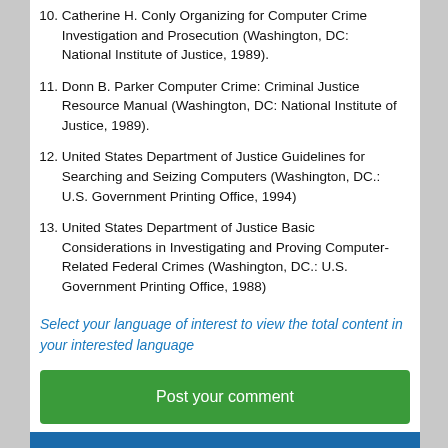10. Catherine H. Conly Organizing for Computer Crime Investigation and Prosecution (Washington, DC: National Institute of Justice, 1989).
11. Donn B. Parker Computer Crime: Criminal Justice Resource Manual (Washington, DC: National Institute of Justice, 1989).
12. United States Department of Justice Guidelines for Searching and Seizing Computers (Washington, DC.: U.S. Government Printing Office, 1994)
13. United States Department of Justice Basic Considerations in Investigating and Proving Computer-Related Federal Crimes (Washington, DC.: U.S. Government Printing Office, 1988)
Select your language of interest to view the total content in your interested language
Post your comment
Share This Article
Social share icons: Facebook, Twitter, LinkedIn, Google+, Pinterest, Blogger